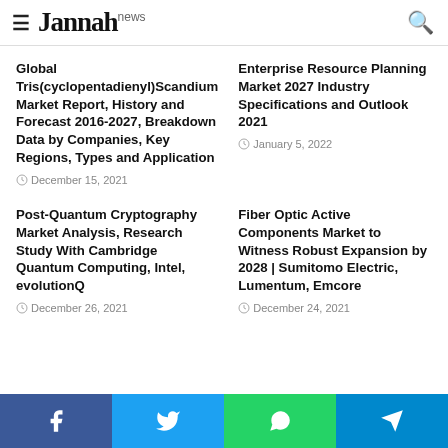Jannah news
Global Tris(cyclopentadienyl)Scandium Market Report, History and Forecast 2016-2027, Breakdown Data by Companies, Key Regions, Types and Application
December 15, 2021
Enterprise Resource Planning Market 2027 Industry Specifications and Outlook 2021
January 5, 2022
Post-Quantum Cryptography Market Analysis, Research Study With Cambridge Quantum Computing, Intel, evolutionQ
December 26, 2021
Fiber Optic Active Components Market to Witness Robust Expansion by 2028 | Sumitomo Electric, Lumentum, Emcore
December 24, 2021